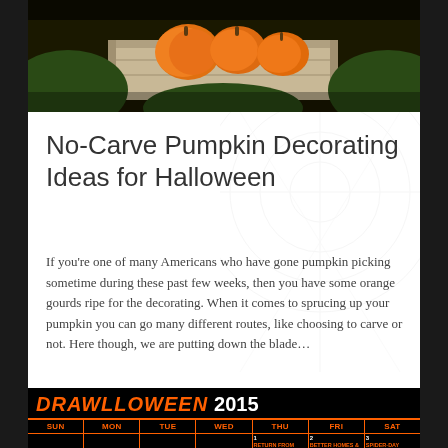[Figure (photo): Pumpkins in a wooden crate with greenery, photographed from above on a white/grey weathered wood surface]
No-Carve Pumpkin Decorating Ideas for Halloween
If you're one of many Americans who have gone pumpkin picking sometime during these past few weeks, then you have some orange gourds ripe for the decorating. When it comes to sprucing up your pumpkin you can go many different routes, like choosing to carve or not. Here though, we are putting down the blade...
[Figure (screenshot): Drawlloween 2015 Halloween-themed calendar with black background and orange text, showing calendar days with SUN MON TUE WED THU FRI SAT headers and partial October calendar data including entries for days 1, 2, 3]